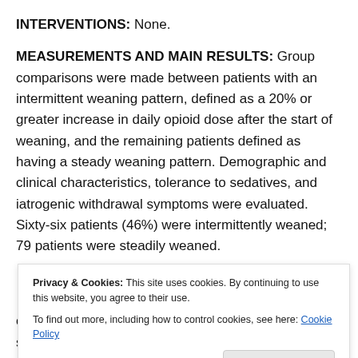INTERVENTIONS: None.
MEASUREMENTS AND MAIN RESULTS: Group comparisons were made between patients with an intermittent weaning pattern, defined as a 20% or greater increase in daily opioid dose after the start of weaning, and the remaining patients defined as having a steady weaning pattern. Demographic and clinical characteristics, tolerance to sedatives, and iatrogenic withdrawal symptoms were evaluated. Sixty-six patients (46%) were intermittently weaned; 79 patients were steadily weaned.
Privacy & Cookies: This site uses cookies. By continuing to use this website, you agree to their use. To find out more, including how to control cookies, see here: Cookie Policy
chloral hydrate and barbiturates compared with steadily